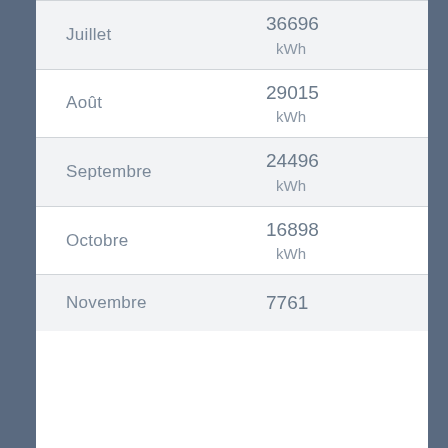| Mois | Valeur | Unité |
| --- | --- | --- |
| Juillet | 36696 | kWh |
| Août | 29015 | kWh |
| Septembre | 24496 | kWh |
| Octobre | 16898 | kWh |
| Novembre | 7761 | kWh |